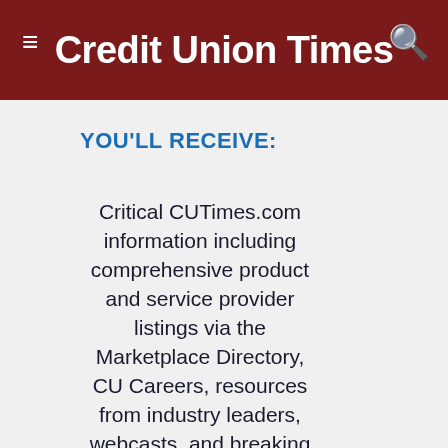Credit Union Times
YOU'LL RECEIVE:
Critical CUTimes.com information including comprehensive product and service provider listings via the Marketplace Directory, CU Careers, resources from industry leaders, webcasts, and breaking news, analysis and more with our informative